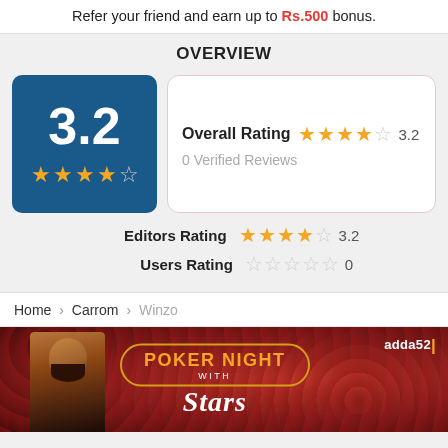Refer your friend and earn up to Rs.500 bonus.
OVERVIEW
3.2 (score card with 3.2 out of 5 stars)
Overall Rating ★★★★☆ 3.2
0 Verified Reviews
Editors Rating ★★★★☆ 3.2
Users Rating ☆☆☆☆☆ 0
Home > Carrom > Winzo
[Figure (photo): adda52 Poker Night with Stars promotional banner showing a man and golden badge text]